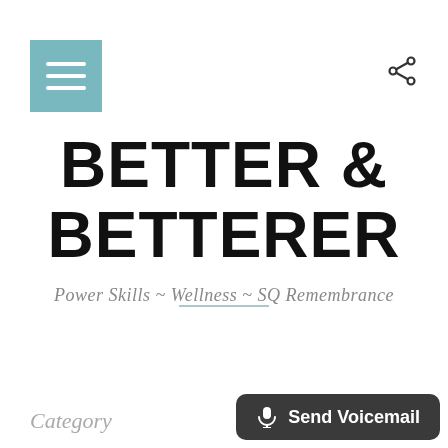[Figure (illustration): Hamburger menu button — teal/light blue square with three white horizontal lines]
[Figure (illustration): Share icon — small dark share/network symbol]
BETTER & BETTERER
Power Skills ~ Wellness ~ SQ Remembrance
Category
[Figure (illustration): Send Voicemail button — dark rounded rectangle with microphone icon and text 'Send Voicemail']